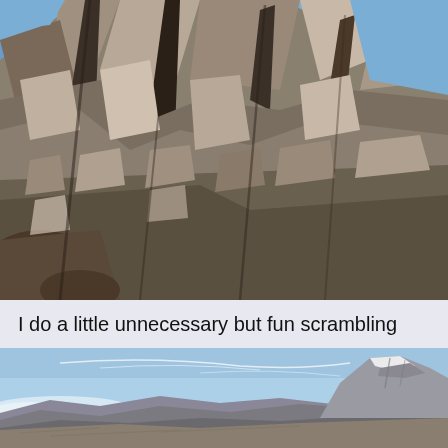[Figure (photo): Close-up photograph of a rugged rocky cliff face with jagged grey stones against a clear blue sky. The rock surface shows heavy texture and fracture lines.]
I do a little unnecessary but fun scrambling
[Figure (photo): Wide landscape photograph of mountain ranges under a clear blue sky with faint wispy clouds. In the foreground are rolling brownish-grey ridges, and in the background on the right stands a tall rocky snow-capped mountain peak.]